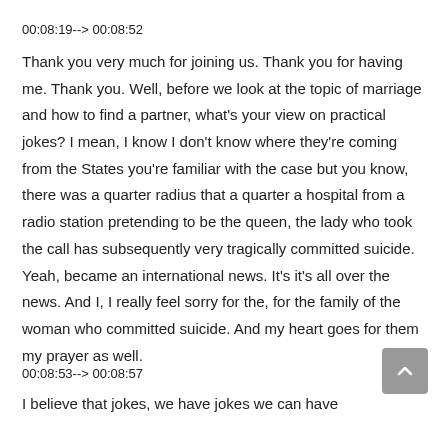00:08:19--> 00:08:52
Thank you very much for joining us. Thank you for having me. Thank you. Well, before we look at the topic of marriage and how to find a partner, what's your view on practical jokes? I mean, I know I don't know where they're coming from the States you're familiar with the case but you know, there was a quarter radius that a quarter a hospital from a radio station pretending to be the queen, the lady who took the call has subsequently very tragically committed suicide. Yeah, became an international news. It's it's all over the news. And I, I really feel sorry for the, for the family of the woman who committed suicide. And my heart goes for them my prayer as well.
00:08:53--> 00:08:57
I believe that jokes, we have jokes we can have